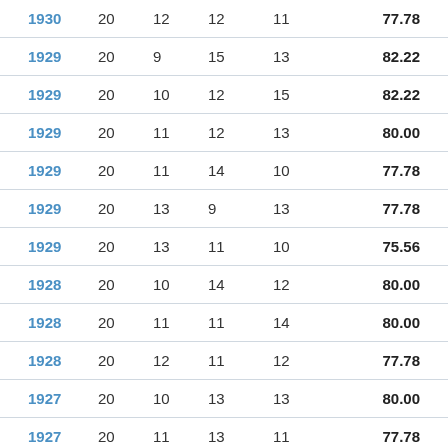| 1930 | 20 | 12 | 12 | 11 | 77.78 |
| 1929 | 20 | 9 | 15 | 13 | 82.22 |
| 1929 | 20 | 10 | 12 | 15 | 82.22 |
| 1929 | 20 | 11 | 12 | 13 | 80.00 |
| 1929 | 20 | 11 | 14 | 10 | 77.78 |
| 1929 | 20 | 13 | 9 | 13 | 77.78 |
| 1929 | 20 | 13 | 11 | 10 | 75.56 |
| 1928 | 20 | 10 | 14 | 12 | 80.00 |
| 1928 | 20 | 11 | 11 | 14 | 80.00 |
| 1928 | 20 | 12 | 11 | 12 | 77.78 |
| 1927 | 20 | 10 | 13 | 13 | 80.00 |
| 1927 | 20 | 11 | 13 | 11 | 77.78 |